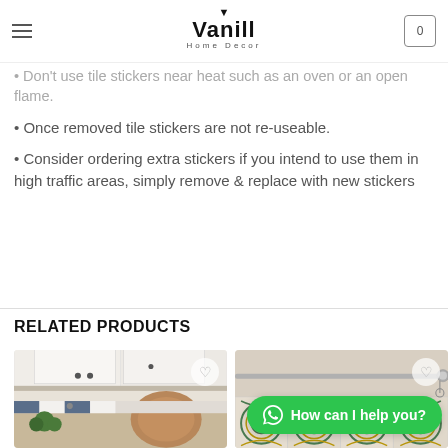Vanill Home Decor
Don't use harsh abrasive cleaners & don't scrub the sticker surface.
Don't use tile stickers near heat such as an oven or an open flame.
Once removed tile stickers are not re-useable.
Consider ordering extra stickers if you intend to use them in high traffic areas, simply remove & replace with new stickers
RELATED PRODUCTS
[Figure (photo): Kitchen scene with white cabinets and tile stickers]
[Figure (photo): Bathroom/kitchen scene with decorative green and gold tile stickers]